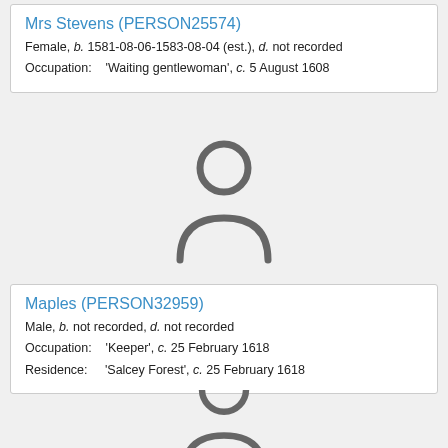Mrs Stevens (PERSON25574)
Female, b. 1581-08-06-1583-08-04 (est.), d. not recorded
Occupation: 'Waiting gentlewoman', c. 5 August 1608
[Figure (illustration): Generic person silhouette icon (grey outline)]
Maples (PERSON32959)
Male, b. not recorded, d. not recorded
Occupation: 'Keeper', c. 25 February 1618
Residence: 'Salcey Forest', c. 25 February 1618
[Figure (illustration): Generic person silhouette icon (grey outline, partially visible)]